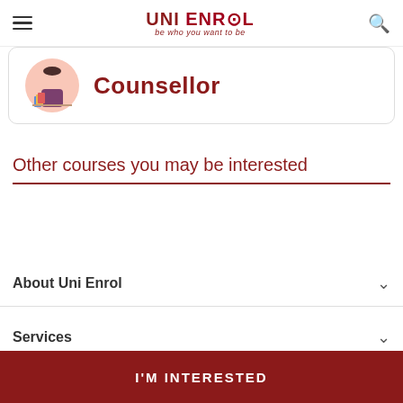UNI ENROL — be who you want to be
[Figure (illustration): Counsellor card with illustrated figure holding books and text 'Counsellor']
Other courses you may be interested
About Uni Enrol
Services
I'M INTERESTED